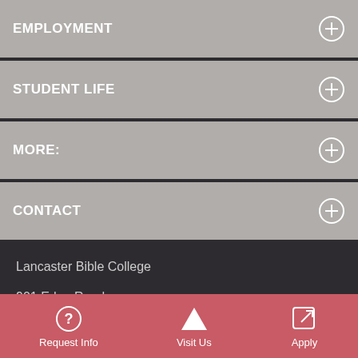EMPLOYMENT
STUDENT LIFE
MORE:
CONTACT
Lancaster Bible College
901 Eden Road
Lancaster, PA 17601
Call Us: 717.569.7071
Request Info  Visit Us  Apply